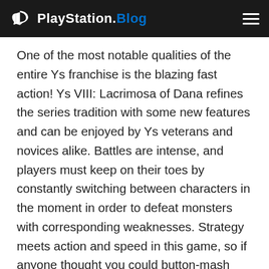PlayStation.Blog
One of the most notable qualities of the entire Ys franchise is the blazing fast action! Ys VIII: Lacrimosa of Dana refines the series tradition with some new features and can be enjoyed by Ys veterans and novices alike. Battles are intense, and players must keep on their toes by constantly switching between characters in the moment in order to defeat monsters with corresponding weaknesses. Strategy meets action and speed in this game, so if anyone thought you could button-mash your way through, I’ve got news for you…